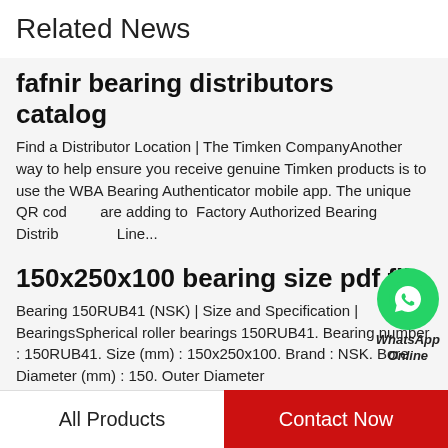Related News
fafnir bearing distributors catalog
Find a Distributor Location | The Timken CompanyAnother way to help ensure you receive genuine Timken products is to use the WBA Bearing Authenticator mobile app. The unique QR code are adding to  Factory Authorized Bearing Distributor Line...
[Figure (logo): WhatsApp Online green circle icon with phone handset, labeled WhatsApp Online]
150x250x100 bearing size pdf file
Bearing 150RUB41 (NSK) | Size and Specification | BearingsSpherical roller bearings 150RUB41. Bearing number : 150RUB41. Size (mm) : 150x250x100. Brand : NSK. Bore Diameter (mm) : 150. Outer Diameter
All Products   Contact Now